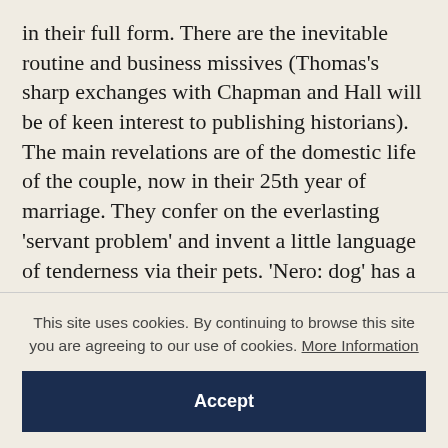in their full form. There are the inevitable routine and business missives (Thomas's sharp exchanges with Chapman and Hall will be of keen interest to publishing historians). The main revelations are of the domestic life of the couple, now in their 25th year of marriage. They confer on the everlasting 'servant problem' and invent a little language of tenderness via their pets. 'Nero: dog' has a larger entry in the Index than 'Dickens: novelist'. A gem is Jane's account to her cousin, Helen, of the great ball they went to at Bath House in July 1850, at the
This site uses cookies. By continuing to browse this site you are agreeing to our use of cookies. More Information
Accept